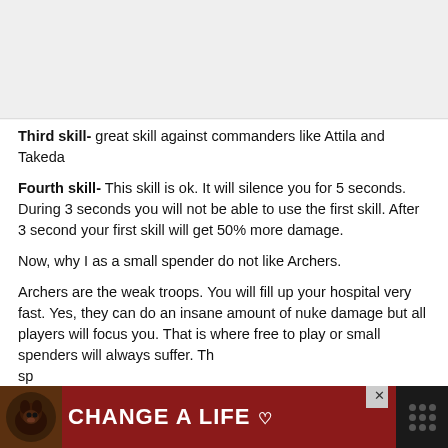[Figure (other): Top image area placeholder (partially visible image, appears blank/light gray)]
Third skill- great skill against commanders like Attila and Takeda
Fourth skill- This skill is ok. It will silence you for 5 seconds. During 3 seconds you will not be able to use the first skill. After 3 second your first skill will get 50% more damage.
Now, why I as a small spender do not like Archers.
Archers are the weak troops. You will fill up your hospital very fast. Yes, they can do an insane amount of nuke damage but all players will focus you. That is where free to play or small spenders will always suffer. Th... spl...
[Figure (other): Advertisement banner at bottom: dark red background with dog image and text 'CHANGE A LIFE' with heart symbol, close button, and media logo on right]